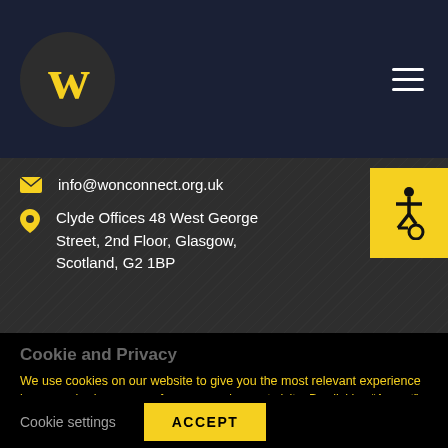[Figure (logo): WonConnect logo: dark circle with yellow W letter]
info@wonconnect.org.uk
Clyde Offices 48 West George Street, 2nd Floor, Glasgow, Scotland, G2 1BP
[Figure (illustration): Yellow accessibility wheelchair icon button]
Cookie and Privacy
We use cookies on our website to give you the most relevant experience by remembering your preferences and repeat visits. By clicking “Accept”, you consent to the use of ALL the cookies.
Cookie settings
ACCEPT